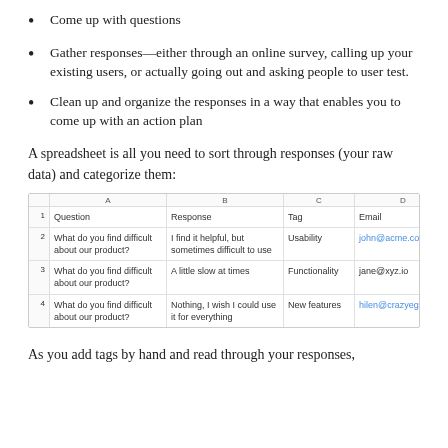Come up with questions
Gather responses—either through an online survey, calling up your existing users, or actually going out and asking people to user test.
Clean up and organize the responses in a way that enables you to come up with an action plan
A spreadsheet is all you need to sort through responses (your raw data) and categorize them:
|  | A | B | C | D |
| --- | --- | --- | --- | --- |
| 1 | Question | Response | Tag | Email |
| 2 | What do you find difficult about our product? | I find it helpful, but sometimes difficult to use | Usability | john@acme.com |
| 3 | What do you find difficult about our product? | A little slow at times | Functionality | jane@xyz.io |
| 4 | What do you find difficult about our product? | Nothing, I wish I could use it for everything | New features | hilen@crazyegg.com |
As you add tags by hand and read through your responses,